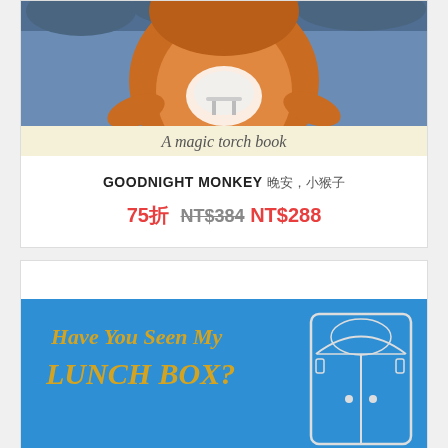[Figure (illustration): Top portion of a children's book cover showing a monkey illustrated in orange/brown tones against a blue background, with a circular light/torch effect and a small table. Below the illustration is a cream/yellow banner text reading 'A magic torch book']
GOODNIGHT MONKEY
75折 NT$384 NT$288
[Figure (illustration): Bottom of page shows top portion of another children's book cover with blue background and golden/yellow text reading 'Have You Seen My LUNCH BOX?' with an illustration of what appears to be a lunch box or cabinet on the right side]